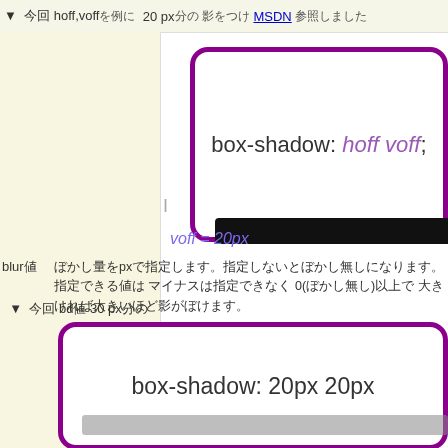▼ 今回 hoff,voffを例に 20 px分の 影をつけMSDN 参照しました
[Figure (illustration): A rounded rectangle box with thick purple border containing CSS text 'box-shadow: hoff voff;' with hoff voff in italic purple, and a black shadow bar beneath it offset downward by 20px, with 'voff = 20px' label]
blur値　ぼかし量をpxで指定します。指定しないとぼかし無しになります。
指定できる値は マイナスは指定できなく 0(ぼかし無し)以上で 大きければ大きいほど影がぼけます。
▼ 今回 bd値 30 px分の
[Figure (illustration): A rounded rectangle box with thick purple border containing CSS text 'box-shadow: 20px 20px' and a gray shadow visible beneath]